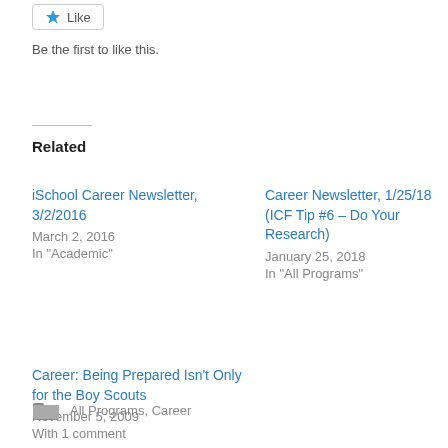[Figure (other): Like button with star icon]
Be the first to like this.
Related
iSchool Career Newsletter, 3/2/2016
March 2, 2016
In "Academic"
Career Newsletter, 1/25/18 (ICF Tip #6 – Do Your Research)
January 25, 2018
In "All Programs"
Career: Being Prepared Isn't Only for the Boy Scouts
November 5, 2009
With 1 comment
All Programs, Career